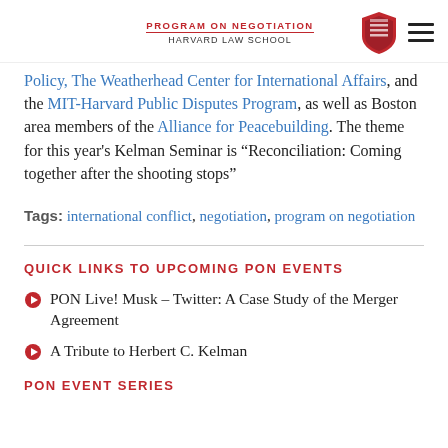PROGRAM ON NEGOTIATION HARVARD LAW SCHOOL
Policy, The Weatherhead Center for International Affairs, and the MIT-Harvard Public Disputes Program, as well as Boston area members of the Alliance for Peacebuilding. The theme for this year's Kelman Seminar is “Reconciliation: Coming together after the shooting stops”
Tags: international conflict, negotiation, program on negotiation
QUICK LINKS TO UPCOMING PON EVENTS
PON Live! Musk – Twitter: A Case Study of the Merger Agreement
A Tribute to Herbert C. Kelman
PON EVENT SERIES